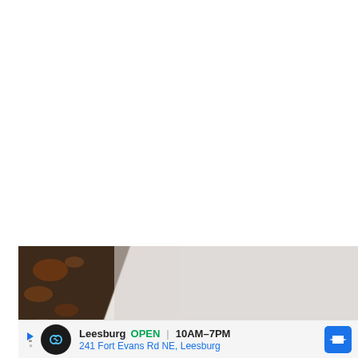[Figure (photo): Close-up photo of a dark rusted/wooden surface on the left and a light gray/white surface on the right, possibly a book or folder edge against a light background]
Leesburg  OPEN  10AM–7PM  241 Fort Evans Rd NE, Leesburg